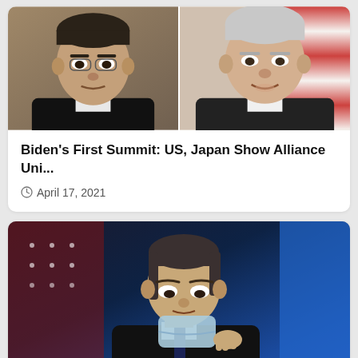[Figure (photo): Side-by-side composite photo: left side shows a close-up of Yoshihide Suga (Japanese Prime Minister), right side shows a close-up of Joe Biden (US President) in front of an American flag.]
Biden's First Summit: US, Japan Show Alliance Uni...
April 17, 2021
[Figure (photo): Photo of Antony Blinken (US Secretary of State) removing a face mask, with American flags and blue background visible behind him.]
US Commits To Lead On Climate, Press All Nation...